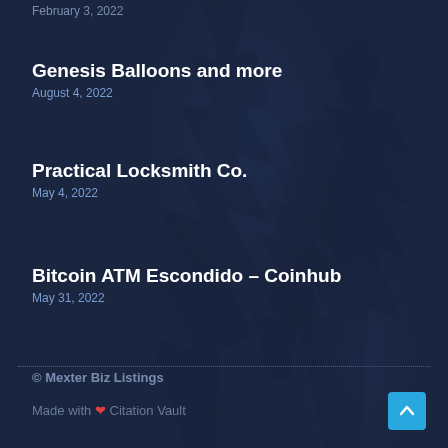February 3, 2022
Genesis Balloons and more
August 4, 2022
Practical Locksmith Co.
May 4, 2022
Bitcoin ATM Escondido – Coinhub
May 31, 2022
© Mexter Biz Listings
Made with ❤ Citation Vault